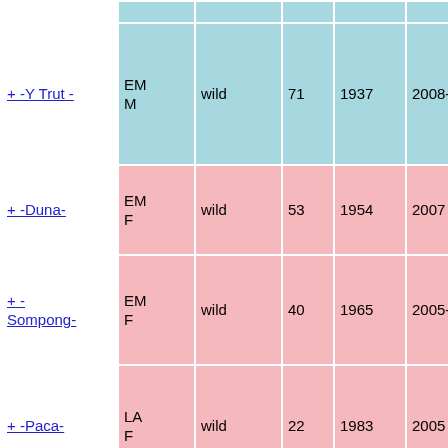| Name | Code | Origin | Age | Birth Year | Death Date | Cause |
| --- | --- | --- | --- | --- | --- | --- |
| + -Y Trut - | EM M | wild | 71 | 1937 | 2008-05-27 | disease, poison, grass field been with |
| + -Duna- | EM F | wild | 53 | 1954 | 2007 | disease, poison |
| + - Sompong- | EM F | wild | 40 | 1965 | 2005-06-13 | disease, Seps blood |
| + -Paca- | LA F | wild | 22 | 1983 | 2005 | disease, poison mine |
| + -Komala- | EM F | captive-born | 8 | 1996 | 2004-10-08 | killed foul poison |
| + (partial) | LA ... |  |  |  |  | disease |